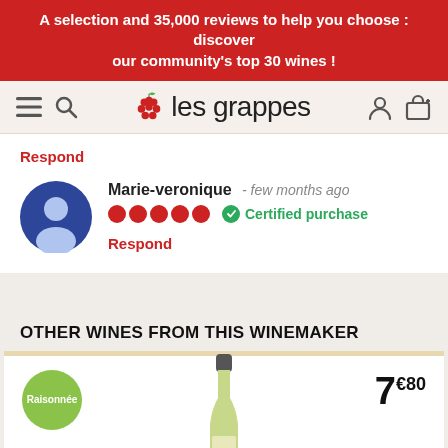A selection and 35,000 reviews to help you choose : discover our community's top 30 wines !
[Figure (logo): les grappes website logo with hamburger menu, search, user and cart icons]
Respond
Marie-veronique - few months ago  ● ● ● ● ●  ✓ Certified purchase
Respond
OTHER WINES FROM THIS WINEMAKER
[Figure (photo): Wine bottle product card with Raisonnée badge and price 7€80]